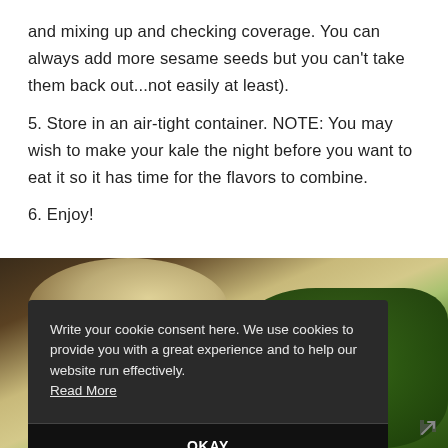and mixing up and checking coverage. You can always add more sesame seeds but you can't take them back out...not easily at least).
5. Store in an air-tight container. NOTE: You may wish to make your kale the night before you want to eat it so it has time for the flavors to combine.
6. Enjoy!
[Figure (photo): Photo of a bowl with kale salad on a wooden or light surface, with dark green kale visible on the right side.]
Write your cookie consent here. We use cookies to provide you with a great experience and to help our website run effectively. Read More
OKAY